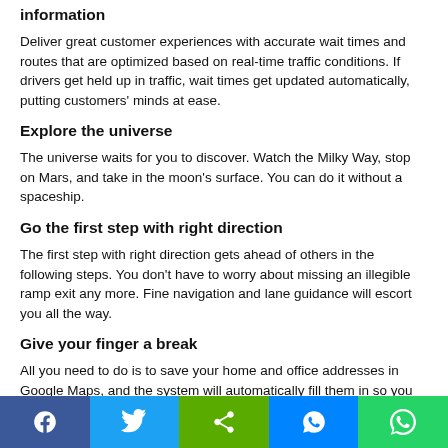information
Deliver great customer experiences with accurate wait times and routes that are optimized based on real-time traffic conditions. If drivers get held up in traffic, wait times get updated automatically, putting customers' minds at ease.
Explore the universe
The universe waits for you to discover. Watch the Milky Way, stop on Mars, and take in the moon's surface. You can do it without a spaceship.
Go the first step with right direction
The first step with right direction gets ahead of others in the following steps. You don't have to worry about missing an illegible ramp exit any more. Fine navigation and lane guidance will escort you all the way.
Give your finger a break
All you need to do is to save your home and office addresses in Google Maps, and the system will automatically fill them in so you